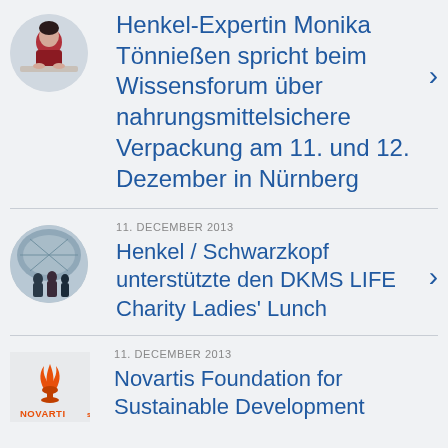Henkel-Expertin Monika Tönnießen spricht beim Wissensforum über nahrungsmittelsichere Verpackung am 11. und 12. Dezember in Nürnberg
Henkel / Schwarzkopf unterstützte den DKMS LIFE Charity Ladies' Lunch
Novartis Foundation for Sustainable Development